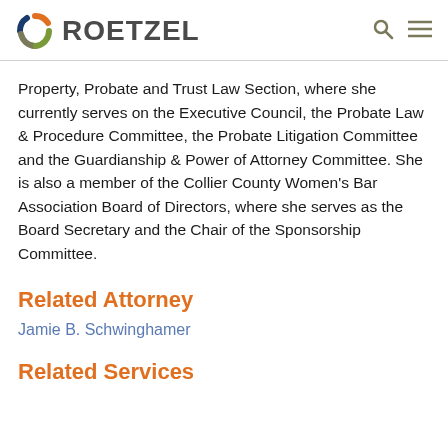ROETZEL
Property, Probate and Trust Law Section, where she currently serves on the Executive Council, the Probate Law & Procedure Committee, the Probate Litigation Committee and the Guardianship & Power of Attorney Committee. She is also a member of the Collier County Women's Bar Association Board of Directors, where she serves as the Board Secretary and the Chair of the Sponsorship Committee.
Related Attorney
Jamie B. Schwinghamer
Related Services